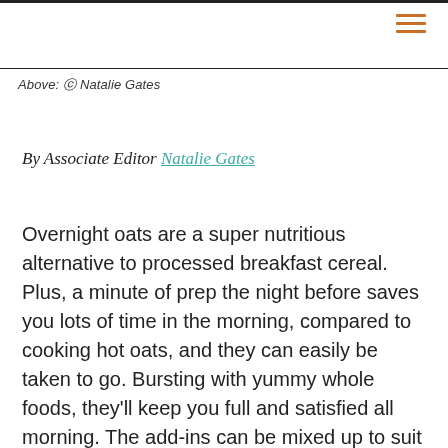Above: © Natalie Gates
By Associate Editor Natalie Gates
Overnight oats are a super nutritious alternative to processed breakfast cereal. Plus, a minute of prep the night before saves you lots of time in the morning, compared to cooking hot oats, and they can easily be taken to go. Bursting with yummy whole foods, they'll keep you full and satisfied all morning. The add-ins can be mixed up to suit your taste, or made from whatever you have lying around